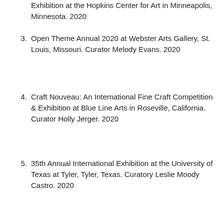Exhibition at the Hopkins Center for Art in Minneapolis, Minnesota. 2020
3. Open Theme Annual 2020 at Webster Arts Gallery, St. Louis, Missouri. Curator Melody Evans. 2020
4. Craft Nouveau: An International Fine Craft Competition & Exhibition at Blue Line Arts in Roseville, California. Curator Holly Jerger. 2020
5. 35th Annual International Exhibition at the University of Texas at Tyler, Tyler, Texas. Curatory Leslie Moody Castro. 2020
6. Valdosta National 2020 at Dedo Maranville Gallery at Valdosta State University, Valdosta, Georgia. Curator Didi Dunphy. 2020
7. 19th Amendment Centennial Exhibition at the Durbin Gallery, located in the Kennedy Art Center at Birmingham Southern College...